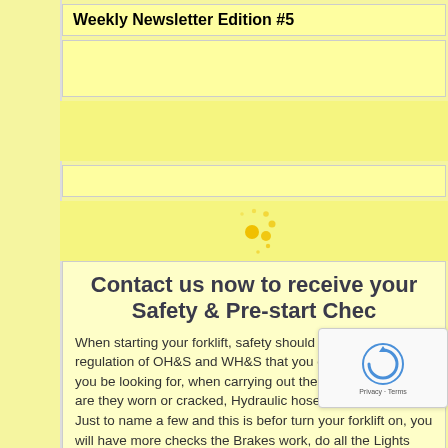Weekly Newsletter Edition #5
Contact us now to receive your Safety & Pre-start Chec
When starting your forklift, safety should be your number regulation of OH&S and WH&S that you do operational ch you be looking for, when carrying out these checks? You r are they worn or cracked, Hydraulic hoses are damaged? Just to name a few and this is befor turn your forklift on, you will have more checks the Brakes work, do all the Lights work, do you have ort